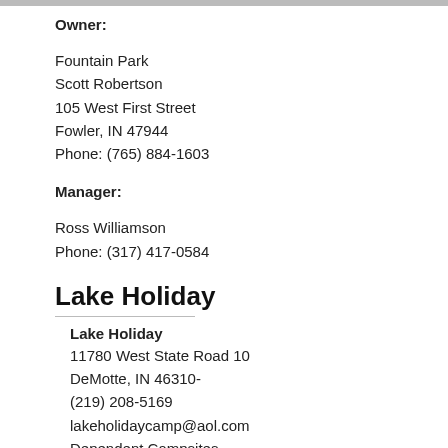Owner:
Fountain Park
Scott Robertson
105 West First Street
Fowler, IN 47944
Phone: (765) 884-1603
Manager:
Ross Williamson
Phone: (317) 417-0584
Lake Holiday
Lake Holiday
11780 West State Road 10
DeMotte, IN 46310-
(219) 208-5169
lakeholidaycamp@aol.com
Dependent Campsites
674 Independent Campsites